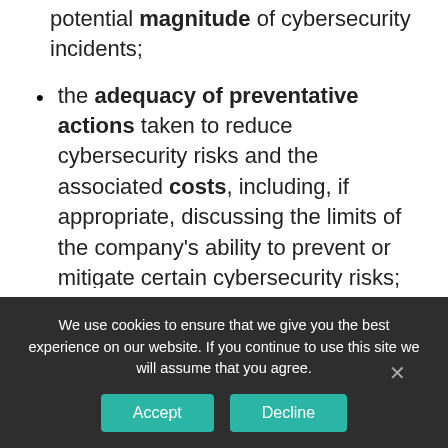potential magnitude of cybersecurity incidents;
the adequacy of preventative actions taken to reduce cybersecurity risks and the associated costs, including, if appropriate, discussing the limits of the company's ability to prevent or mitigate certain cybersecurity risks;
the aspects of the company's business and operations that give rise to material cybersecurity risks and the potential costs and consequences of such risks, including
We use cookies to ensure that we give you the best experience on our website. If you continue to use this site we will assume that you agree.